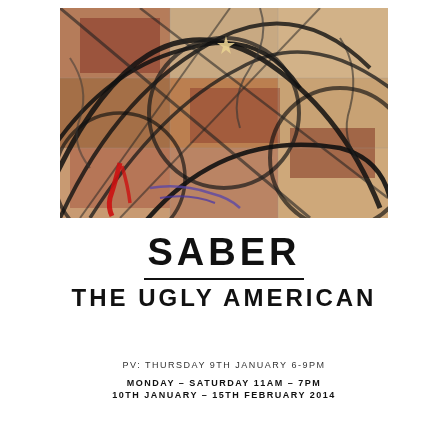[Figure (illustration): Abstract artwork with dark sweeping lines over a mixed-media surface with earth tones, brick-red sections, and splashes of red and blue paint. Intersecting arcs and linear marks create a chaotic, energetic composition.]
SABER
THE UGLY AMERICAN
PV: THURSDAY 9TH JANUARY 6-9PM
MONDAY – SATURDAY 11AM – 7PM
10TH JANUARY – 15TH FEBRUARY 2014